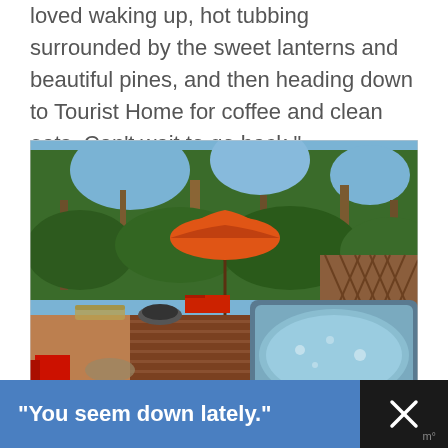loved waking up, hot tubbing surrounded by the sweet lanterns and beautiful pines, and then heading down to Tourist Home for coffee and clean eats. Can't wait to go back."
[Figure (photo): Outdoor deck with a hot tub in the foreground, red Adirondack chairs, a fire pit, lounge chairs, and an orange patio umbrella, surrounded by tall green pine trees under a blue sky.]
"You seem down lately."